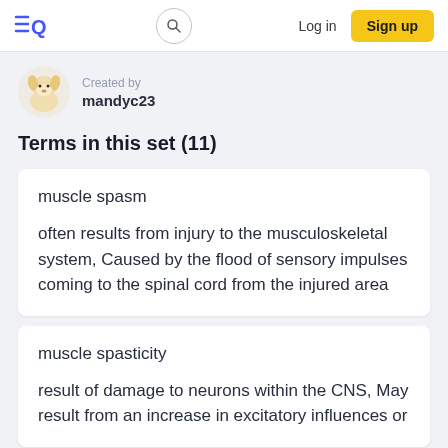Quizlet navigation bar with logo, search, Log in, Sign up
Created by
mandyc23
Terms in this set (11)
muscle spasm

often results from injury to the musculoskeletal system, Caused by the flood of sensory impulses coming to the spinal cord from the injured area
muscle spasticity

result of damage to neurons within the CNS, May result from an increase in excitatory influences or a decrease in inhibitory influences within the